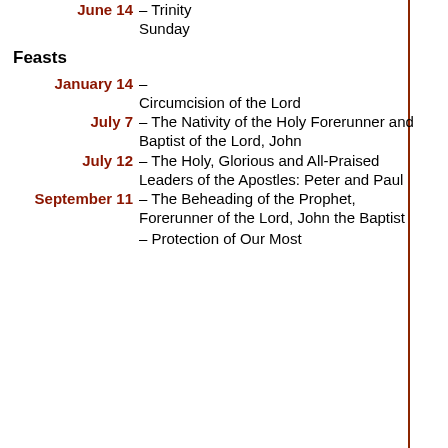| Date | Description |
| --- | --- |
| June 14 | – Trinity Sunday |
|  | Feasts |
| January 14 | – Circumcision of the Lord |
| July 7 | – The Nativity of the Holy Forerunner and Baptist of the Lord, John |
| July 12 | – The Holy, Glorious and All-Praised Leaders of the Apostles: Peter and Paul |
| September 11 | – The Beheading of the Prophet, Forerunner of the Lord, John the Baptist |
|  | – Protection of Our Most... |